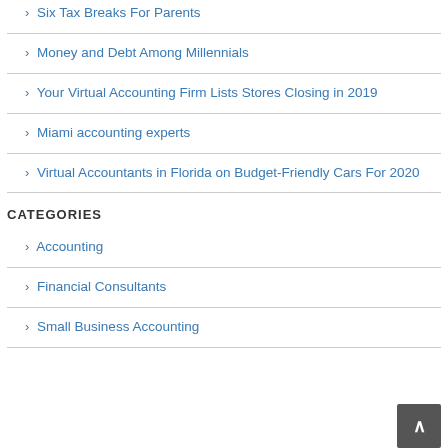Six Tax Breaks For Parents
Money and Debt Among Millennials
Your Virtual Accounting Firm Lists Stores Closing in 2019
Miami accounting experts
Virtual Accountants in Florida on Budget-Friendly Cars For 2020
CATEGORIES
Accounting
Financial Consultants
Small Business Accounting